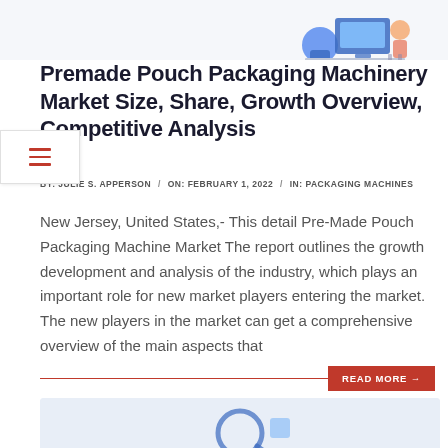[Figure (illustration): Partial illustration of a person working at a desktop computer, colorful flat design, cropped at top of page]
Premade Pouch Packaging Machinery Market Size, Share, Growth Overview, Competitive Analysis
BY: JULIE S. APPERSON / ON: FEBRUARY 1, 2022 / IN: PACKAGING MACHINES
New Jersey, United States,- This detail Pre-Made Pouch Packaging Machine Market The report outlines the growth development and analysis of the industry, which plays an important role for new market players entering the market. The new players in the market can get a comprehensive overview of the main aspects that
READ MORE →
[Figure (illustration): Partial illustration with light blue background, beginning of another article image at the bottom of the page]